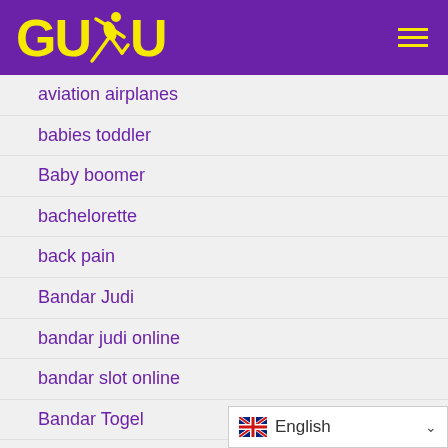[Figure (logo): GUDU logo with yellow text and runner silhouette on purple background]
aviation airplanes
babies toddler
Baby boomer
bachelorette
back pain
Bandar Judi
bandar judi online
bandar slot online
Bandar Togel
bandar vivoslot
Bankruptcy
Bankruptcy Personal
[Figure (screenshot): Language selector showing UK flag and English with dropdown chevron]